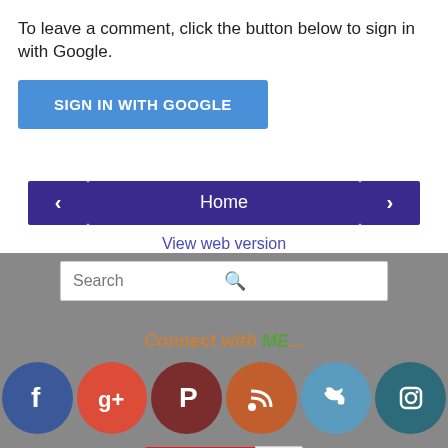To leave a comment, click the button below to sign in with Google.
[Figure (screenshot): Blue button labeled SIGN IN WITH GOOGLE]
[Figure (screenshot): Navigation row with left arrow, Home button, and right arrow in dark purple]
View web version
[Figure (screenshot): Search bar with placeholder text Search and a magnifying glass icon]
Connect with ME...
[Figure (infographic): Row of social media icons: Facebook, Google+, Pinterest, RSS, Twitter, Instagram]
[Figure (screenshot): YouTube button with 2K subscriber count]